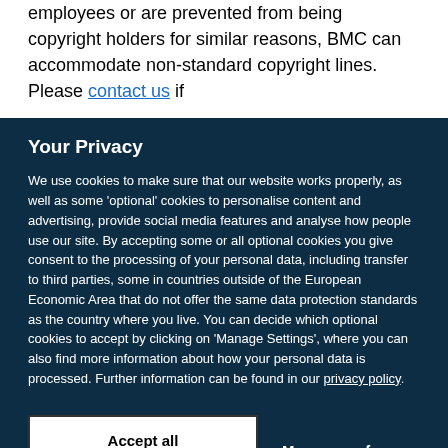employees or are prevented from being copyright holders for similar reasons, BMC can accommodate non-standard copyright lines. Please contact us if
Your Privacy
We use cookies to make sure that our website works properly, as well as some 'optional' cookies to personalise content and advertising, provide social media features and analyse how people use our site. By accepting some or all optional cookies you give consent to the processing of your personal data, including transfer to third parties, some in countries outside of the European Economic Area that do not offer the same data protection standards as the country where you live. You can decide which optional cookies to accept by clicking on 'Manage Settings', where you can also find more information about how your personal data is processed. Further information can be found in our privacy policy.
Accept all cookies
Manage preferences